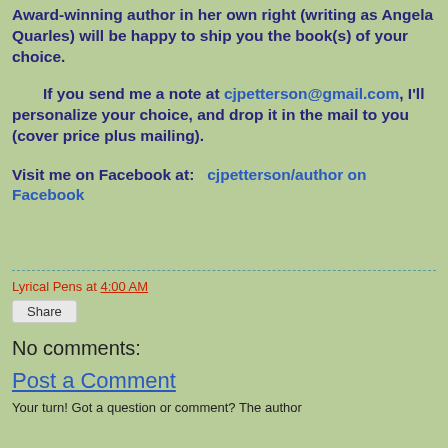Award-winning author in her own right (writing as Angela Quarles) will be happy to ship you the book(s) of your choice.
If you send me a note at cjpetterson@gmail.com, I'll personalize your choice, and drop it in the mail to you (cover price plus mailing).
Visit me on Facebook at:   cjpetterson/author on Facebook
Lyrical Pens at 4:00 AM
Share
No comments:
Post a Comment
Your turn! Got a question or comment? The author